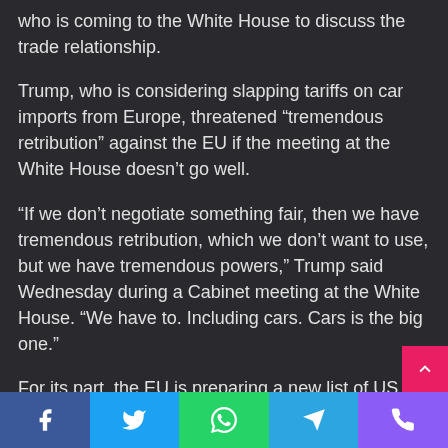who is coming to the White House to discuss the trade relationship.
Trump, who is considering slapping tariffs on car imports from Europe, threatened “tremendous retribution” against the EU if the meeting at the White House doesn’t go well.
“If we don’t negotiate something fair, then we have tremendous retribution, which we don’t want to use, but we have tremendous powers,” Trump said Wednesday during a Cabinet meeting at the White House. “We have to. Including cars. Cars is the big one.”
For its part, the EU is preparing a new list of US goods to hit with retaliatory measures Trump moves ahead with the car tariffs.
Facebook Twitter WhatsApp Telegram Phone